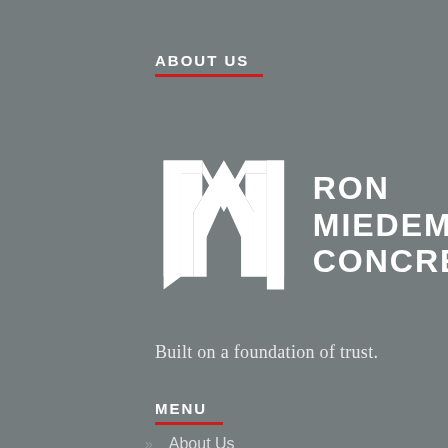ABOUT US
[Figure (logo): Ron Miedema Concrete logo with large stylized white M lettermark and company name text RON MIEDEMA CONCRETE in white bold uppercase letters on grey background]
Built on a foundation of trust.
MENU
About Us
Careers
Rentals